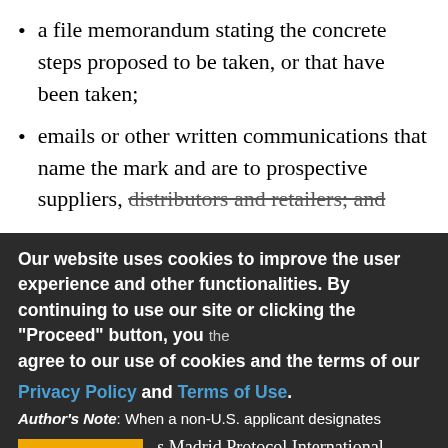a file memorandum stating the concrete steps proposed to be taken, or that have been taken;
emails or other written communications that name the mark and are to prospective suppliers, distributors and retailers; and
Our website uses cookies to improve the user experience and other functionalities. By continuing to use our site or clicking the “Proceed” button, you agree to our use of cookies and the terms of our Privacy Policy and Terms of Use.
Author’s Note: When a non-U.S. applicant designates the U.S. Madrid Protocol International Registration, that applicant must state, as part of its designation, that it has a bona fide intention to use the